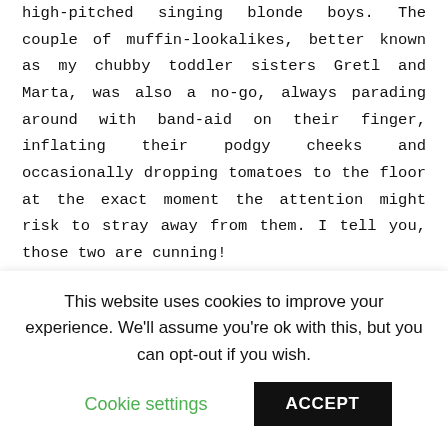high-pitched singing blonde boys. The couple of muffin-lookalikes, better known as my chubby toddler sisters Gretl and Marta, was also a no-go, always parading around with band-aid on their finger, inflating their podgy cheeks and occasionally dropping tomatoes to the floor at the exact moment the attention might risk to stray away from them. I tell you, those two are cunning!

And don't even get me started on Liesl, who got to wear see-through sleeves, suggestive dirndles and collar-bone exposing dresses, while I seemed to be confined to the wardrobe of a ten-year-old porcelain doll. It's all just terribly unfair, especially since I'm physically clearly the same age as her. The only time I
This website uses cookies to improve your experience. We'll assume you're ok with this, but you can opt-out if you wish.
Cookie settings   ACCEPT